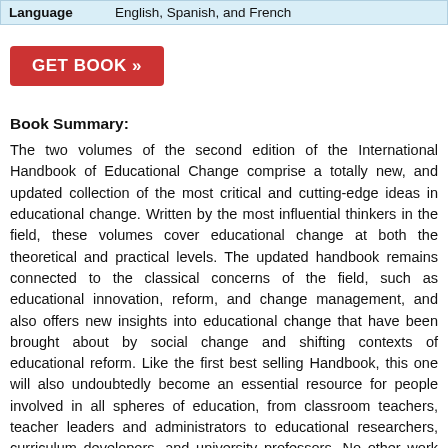| Language |  |
| --- | --- |
| Language | English, Spanish, and French |
[Figure (other): Red GET BOOK button with double arrow]
Book Summary:
The two volumes of the second edition of the International Handbook of Educational Change comprise a totally new, and updated collection of the most critical and cutting-edge ideas in educational change. Written by the most influential thinkers in the field, these volumes cover educational change at both the theoretical and practical levels. The updated handbook remains connected to the classical concerns of the field, such as educational innovation, reform, and change management, and also offers new insights into educational change that have been brought about by social change and shifting contexts of educational reform. Like the first best selling Handbook, this one will also undoubtedly become an essential resource for people involved in all spheres of education, from classroom teachers, teacher leaders and administrators to educational researchers, curriculum developers, and university professors. No other work provides such a